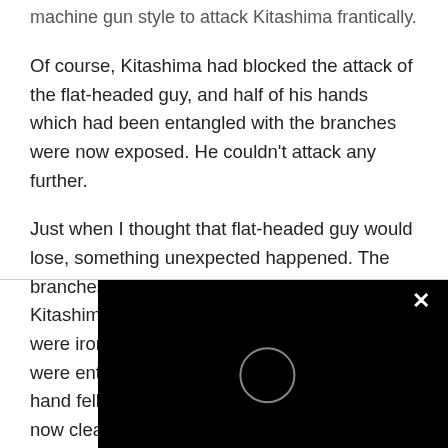machine gun style to attack Kitashima frantically.
Of course, Kitashima had blocked the attack of the flat-headed guy, and half of his hands which had been entangled with the branches were now exposed. He couldn't attack any further.
Just when I thought that flat-headed guy would lose, something unexpected happened. The branches that fell near them quickly flew to Kitashima, as if he was a magnet, and they were iron filings. Kitashima's hands and feet were entangled, and the titanium sword in his hand fell into the ground with a clatter. It was now clear who'd won and who'd lost…
“Kitashima, have you seen it? I won, I won! You are no longer stronger than me. From now on, you're a defeated guy!” The flat-headed guy ch
“Huh…” Kitashima smiled disdainfully you turn yourself into a stone?”